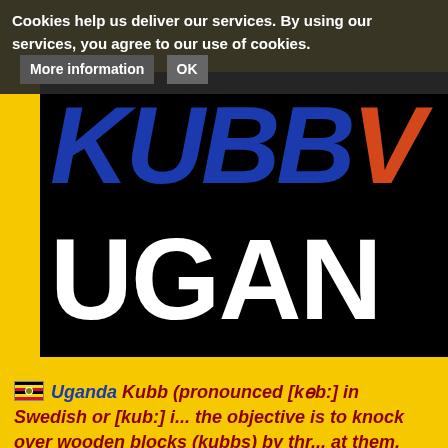Cookies help us deliver our services. By using our services, you agree to our use of cookies. [More information] [OK]
[Figure (logo): Kubb Uganda logo on black background. 'KUBB' in large bold italic dark blue letters with a partial red/orange letter visible at right edge. 'UGAN' in large bold white letters below.]
🇺🇬 Uganda Kubb (pronounced [kɵb:] in Swedish or [kub:] i... the objective is to knock over wooden blocks (kubbs) by thr... at them. Kubb can be described as a combination of bowlin... on a small rectangular playing field, known as a "pitch". "Ku... pitch, and the "king", a larger wooden block, is placed in the... vary from country to country and from region to region, but... to knock over the "kubbs" on the opposing side of the pitch,... before the opponent does. Games can last from five minute... can be played on a variety of surfaces such as grass, sand...